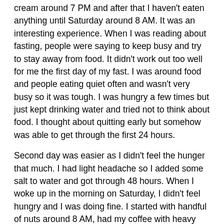cream around 7 PM and after that I haven't eaten anything until Saturday around 8 AM. It was an interesting experience. When I was reading about fasting, people were saying to keep busy and try to stay away from food. It didn't work out too well for me the first day of my fast. I was around food and people eating quiet often and wasn't very busy so it was tough. I was hungry a few times but just kept drinking water and tried not to think about food. I thought about quitting early but somehow was able to get through the first 24 hours.
Second day was easier as I didn't feel the hunger that much. I had light headache so I added some salt to water and got through 48 hours. When I woke up in the morning on Saturday, I didn't feel hungry and I was doing fine. I started with handful of nuts around 8 AM, had my coffee with heavy cream around 9 AM and ate my regular breakfast at around 11:30 AM. During the first and second day, I thought that I'm going to eat a lot after the fast but I didn't feel hungry so I didn't overeat.
During my fast, I also drank green tea twice and water with squeezed lemon 3 times. Other than that, I only drank water.